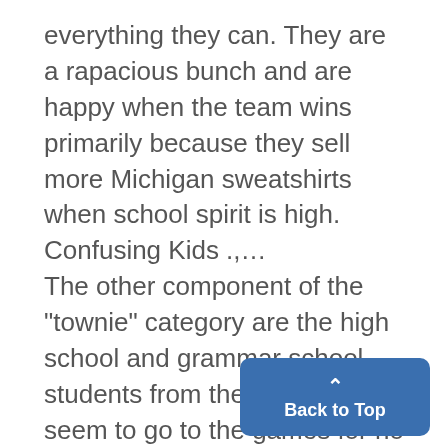everything they can. They are a rapacious bunch and are happy when the team wins primarily because they sell more Michigan sweatshirts when school spirit is high. Confusing Kids .,.. The other component of the "townie" category are the high school and grammar school students from the area who seem to go to the games for no other purpose than to stand outside of the stadium buying and selling tick game starts. Whether